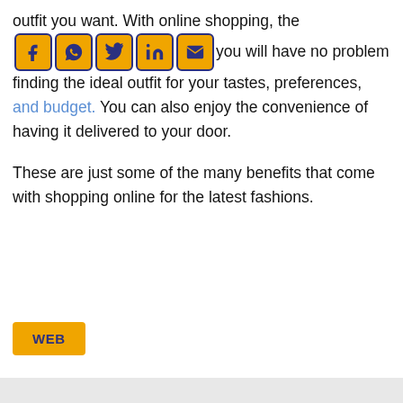outfit you want. With online shopping, the [social icons] you will have no problem finding the ideal outfit for your tastes, preferences, and budget. You can also enjoy the convenience of having it delivered to your door.
These are just some of the many benefits that come with shopping online for the latest fashions.
[Figure (other): WEB button - an orange rectangular button with dark blue bold text 'WEB']